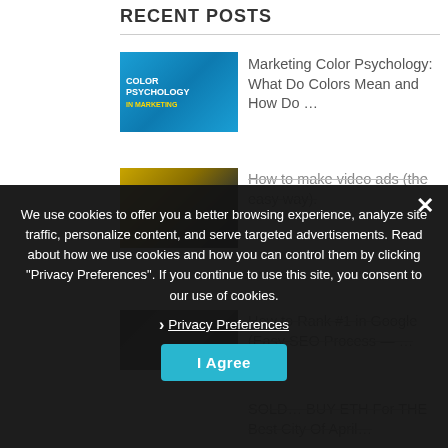RECENT POSTS
Marketing Color Psychology: What Do Colors Mean and How Do ...
How to make video ads (the easy way).
How to Rank #1 in Google (Easy SEO Process — ...
SOLD... BUY ETH For THE Best City Of April...
We use cookies to offer you a better browsing experience, analyze site traffic, personalize content, and serve targeted advertisements. Read about how we use cookies and how you can control them by clicking "Privacy Preferences". If you continue to use this site, you consent to our use of cookies.
❯ Privacy Preferences
I Agree